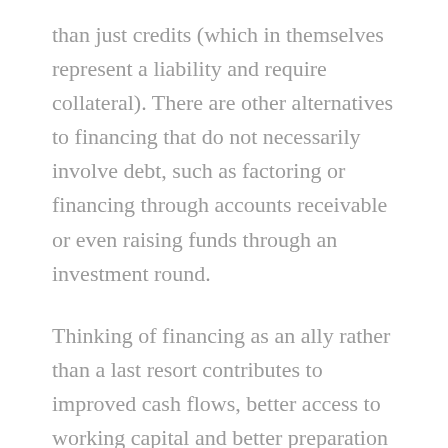than just credits (which in themselves represent a liability and require collateral). There are other alternatives to financing that do not necessarily involve debt, such as factoring or financing through accounts receivable or even raising funds through an investment round.
Thinking of financing as an ally rather than a last resort contributes to improved cash flows, better access to working capital and better preparation by companies for any unexpected eventuality. On the other hand, resources such as factoring not only help ensure the liquidity and continuity of the company in the short term, but also offer other